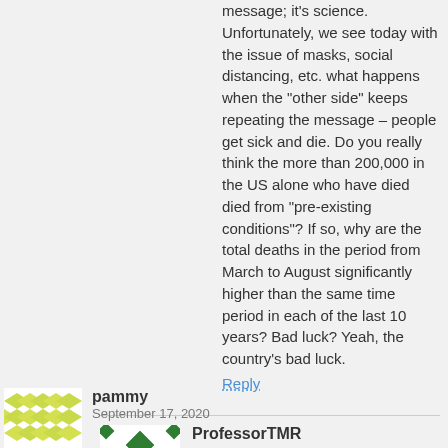message; it's science. Unfortunately, we see today with the issue of masks, social distancing, etc. what happens when the "other side" keeps repeating the message – people get sick and die. Do you really think the more than 200,000 in the US alone who have died died from "pre-existing conditions"? If so, why are the total deaths in the period from March to August significantly higher than the same time period in each of the last 10 years? Bad luck? Yeah, the country's bad luck.
Reply
[Figure (illustration): Avatar icon for ProfessorTMR - green diamond pattern on white background]
ProfessorTMR
September 18, 2020
Sorry, dear, your bias and constant comments notwithstanding, the bulk of science by no means supports the "vaccines are [all] [completely] safe and effective" narrative constantly pushed by the mainstream media.
Reply
[Figure (illustration): Avatar icon for pammy - yellow/green diamond pattern on white background]
pammy
September 17, 2020